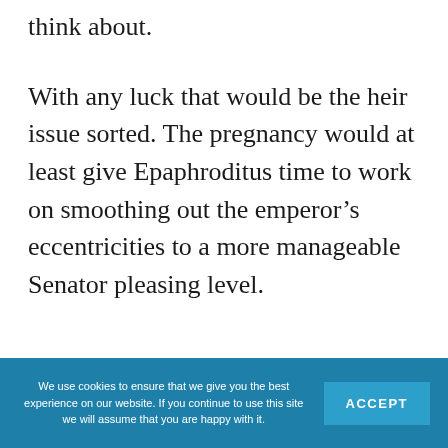think about.
With any luck that would be the heir issue sorted. The pregnancy would at least give Epaphroditus time to work on smoothing out the emperor’s eccentricities to a more manageable Senator pleasing level.
We use cookies to ensure that we give you the best experience on our website. If you continue to use this site we will assume that you are happy with it. ACCEPT